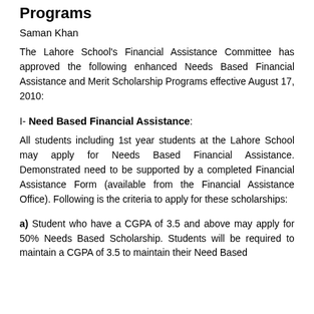Programs
Saman Khan
The Lahore School's Financial Assistance Committee has approved the following enhanced Needs Based Financial Assistance and Merit Scholarship Programs effective August 17, 2010:
I- Need Based Financial Assistance:
All students including 1st year students at the Lahore School may apply for Needs Based Financial Assistance. Demonstrated need to be supported by a completed Financial Assistance Form (available from the Financial Assistance Office). Following is the criteria to apply for these scholarships:
a) Student who have a CGPA of 3.5 and above may apply for 50% Needs Based Scholarship. Students will be required to maintain a CGPA of 3.5 to maintain their Need Based